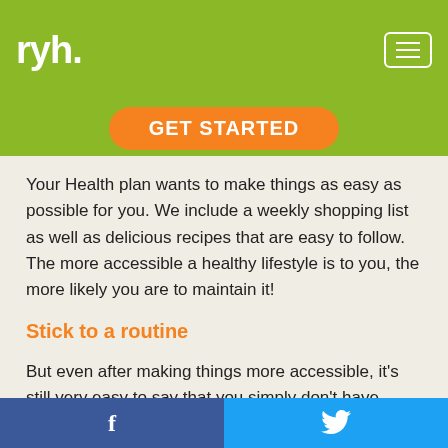ryh.
GET STARTED
Your Health plan wants to make things as easy as possible for you. We include a weekly shopping list as well as delicious recipes that are easy to follow. The more accessible a healthy lifestyle is to you, the more likely you are to maintain it!
Stick to a routine
But even after making things more accessible, it's still very easy to say that you simply don't have enough time to incorporate healthier habits into your routine. This may be because you aren't being consistent with your scheduling!
Make room in your schedule every day to dedicate to your
f   🐦